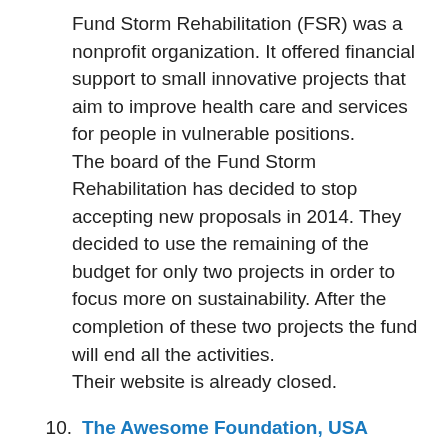Fund Storm Rehabilitation (FSR) was a nonprofit organization. It offered financial support to small innovative projects that aim to improve health care and services for people in vulnerable positions. The board of the Fund Storm Rehabilitation has decided to stop accepting new proposals in 2014. They decided to use the remaining of the budget for only two projects in order to focus more on sustainability. After the completion of these two projects the fund will end all the activities.
Their website is already closed.
10. The Awesome Foundation, USA
The Awesome Foundation for the Arts and Sciences is an ever-growing, worldwide network of people 'devoted to forwarding the interest of awesomeness in the